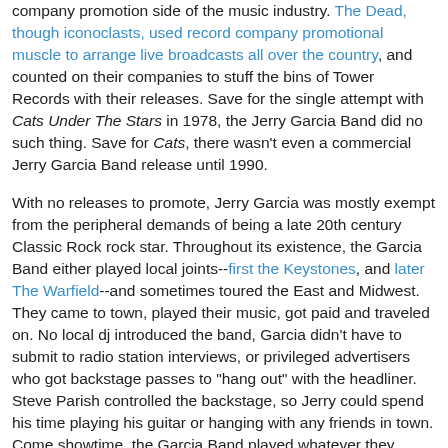company promotion side of the music industry. The Dead, though iconoclasts, used record company promotional muscle to arrange live broadcasts all over the country, and counted on their companies to stuff the bins of Tower Records with their releases. Save for the single attempt with Cats Under The Stars in 1978, the Jerry Garcia Band did no such thing. Save for Cats, there wasn't even a commercial Jerry Garcia Band release until 1990.
With no releases to promote, Jerry Garcia was mostly exempt from the peripheral demands of being a late 20th century Classic Rock rock star. Throughout its existence, the Garcia Band either played local joints--first the Keystones, and later The Warfield--and sometimes toured the East and Midwest. They came to town, played their music, got paid and traveled on. No local dj introduced the band, Garcia didn't have to submit to radio station interviews, or privileged advertisers who got backstage passes to "hang out" with the headliner. Steve Parish controlled the backstage, so Jerry could spend his time playing his guitar or hanging with any friends in town. Come showtime, the Garcia Band played whatever they wanted, Parish took the cash and the little circus moved on to the next gig.